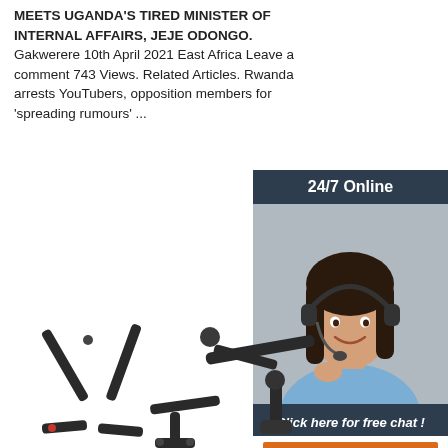MEETS UGANDA'S TIRED MINISTER OF INTERNAL AFFAIRS, JEJE ODONGO. Gakwerere 10th April 2021 East Africa Leave a comment 743 Views. Related Articles. Rwanda arrests YouTubers, opposition members for 'spreading rumours' ...
Get Price
[Figure (photo): Sidebar advertisement widget with '24/7 Online' header, photo of a smiling woman with a headset, 'Click here for free chat!' text, and an orange 'QUOTATION' button, on a dark blue/slate background.]
[Figure (photo): Product images showing black metal mounting brackets/arms: a folding stand bracket (bottom left), an articulating arm mount (top right), and a partial bracket at the bottom center.]